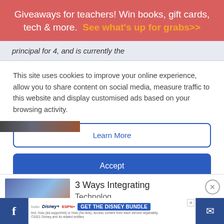Giveaways for teachers! Win books, gift cards, tech & more.  See what's up for grabs>>
principal for 4, and is currently the
This site uses cookies to improve your online experience, allow you to share content on social media, measure traffic to this website and display customised ads based on your browsing activity.
Learn More
Accept
[Figure (photo): Thumbnail strip partial image visible at top and article thumbnail of students in classroom]
3 Ways Integrating Technology Can...
[Figure (screenshot): Disney Bundle advertisement bar with Hulu, Disney+, ESPN+ logos and GET THE DISNEY BUNDLE CTA]
Incl. Hulu (ad-supported) or Hulu (No Ads). Access content from each service separately. ©2021 Disney and its related entities